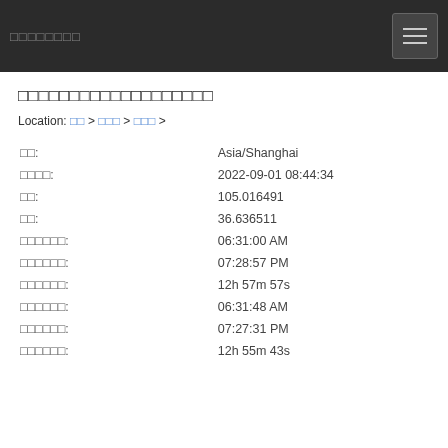□□□□□□□□
□□□□□□□□□□□□□□□□□□□
Location: □□ > □□□ > □□□ >
| □□: | Asia/Shanghai |
| □□□□: | 2022-09-01 08:44:34 |
| □□: | 105.016491 |
| □□: | 36.636511 |
| □□□□□□: | 06:31:00 AM |
| □□□□□□: | 07:28:57 PM |
| □□□□□□: | 12h 57m 57s |
| □□□□□□: | 06:31:48 AM |
| □□□□□□: | 07:27:31 PM |
| □□□□□□: | 12h 55m 43s |